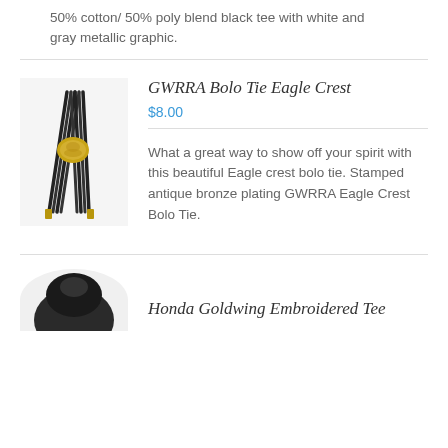50% cotton/ 50% poly blend black tee with white and gray metallic graphic.
[Figure (photo): Photo of a GWRRA Bolo Tie Eagle Crest — black braided cord with gold-colored eagle crest medallion and gold tips]
GWRRA Bolo Tie Eagle Crest
$8.00
What a great way to show off your spirit with this beautiful Eagle crest bolo tie.  Stamped antique bronze plating GWRRA Eagle Crest Bolo Tie.
Honda Goldwing Embroidered Tee